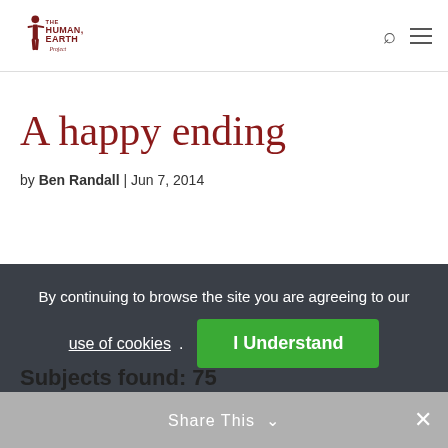The Human Earth Project
A happy ending
by Ben Randall | Jun 7, 2014
By continuing to browse the site you are agreeing to our use of cookies. I Understand
Share This
Subjects found: 75